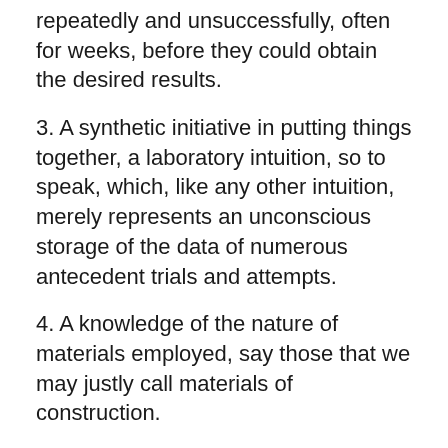repeatedly and unsuccessfully, often for weeks, before they could obtain the desired results.
3. A synthetic initiative in putting things together, a laboratory intuition, so to speak, which, like any other intuition, merely represents an unconscious storage of the data of numerous antecedent trials and attempts.
4. A knowledge of the nature of materials employed, say those that we may justly call materials of construction.
5. Knowledge of the elementary laws in sciences, some mechanics, some chemistry, to be afterward supplemented by the adequate systematic study of mathematics and the philosophical analysis of theories.
Such, in short, are the prerequisites for a modern scientific apprenticeship, and such a preparatory training, both in